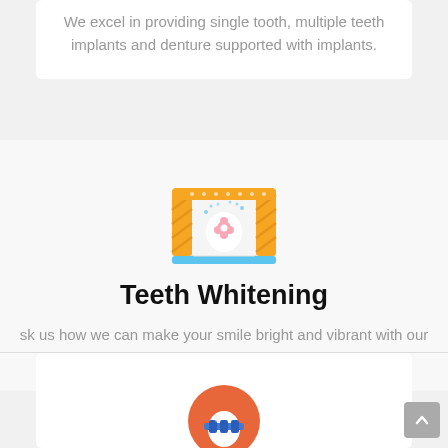We excel in providing single tooth, multiple teeth implants and denture supported with implants.
[Figure (illustration): Teeth whitening machine illustration with yellow/orange frames, pink tones, and a blue base]
Teeth Whitening
Ask us how we can make your smile bright and vibrant with our excellent Teeth Whitening treatments.
[Figure (illustration): Orange circular dental icon with a tooth and blue dental tool/brace element]